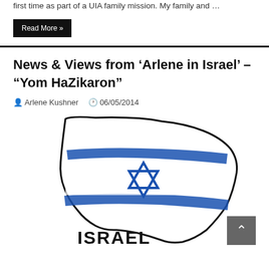first time as part of a UIA family mission. My family and …
Read More »
News & Views from 'Arlene in Israel' – "Yom HaZikaron"
Arlene Kushner   06/05/2014
[Figure (illustration): Sketch-style illustration of an Israeli flag draped over the map of Israel, with the Star of David in the center, and the word ISRAEL written at the bottom in bold black hand-lettered style.]